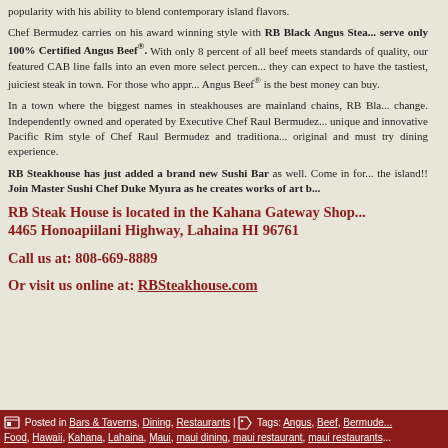popularity with his ability to blend contemporary island flavors.
Chef Bermudez carries on his award winning style with RB Black Angus Stea... serve only 100% Certified Angus Beef®. With only 8 percent of all beef meets standards of quality, our featured CAB line falls into an even more select percen... they can expect to have the tastiest, juiciest steak in town. For those who appr... Angus Beef® is the best money can buy.
In a town where the biggest names in steakhouses are mainland chains, RB Bla... change. Independently owned and operated by Executive Chef Raul Bermudez... unique and innovative Pacific Rim style of Chef Raul Bermudez and traditiona... original and must try dining experience.
RB Steakhouse has just added a brand new Sushi Bar as well. Come in for... the island!! Join Master Sushi Chef Duke Myura as he creates works of art b...
RB Steak House is located in the Kahana Gateway Shop... 4465 Honoapiilani Highway, Lahaina HI 96761
Call us at: 808-669-8889
Or visit us online at: RBSteakhouse.com
Posted in Bars & Taverns, Dining, Restaurants | Tags: Angus, Beef, Bermude... Food, Hawaii, Kahana, Lahaina, Maui, maui dining, maui restaurant, maui restaurants...